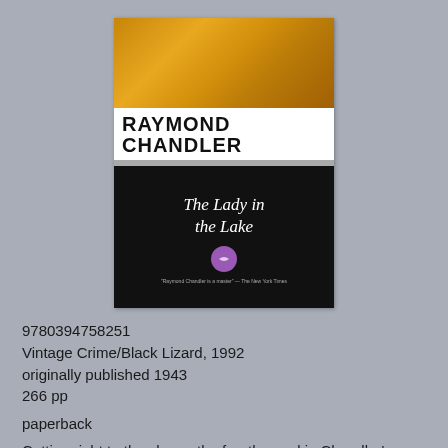[Figure (illustration): Book cover of 'The Lady in the Lake' by Raymond Chandler. Top section has a golden/amber abstract image. Middle white band shows 'RAYMOND CHANDLER' in large bold black uppercase letters. A gray dividing band follows. Bottom black section shows the title 'The Lady in the Lake' in white italic script, a small purple circular emblem, and a quote at the bottom.]
9780394758251
Vintage Crime/Black Lizard, 1992
originally published 1943
266 pp
paperback
Cutting right to the chase, the fourth novel in Chandler's Marlowe series begins with a missing wife.  Degrace Kingsley, a businessman in the perfume business, hires Marlowe to find his wife Crystal. Although they'd been